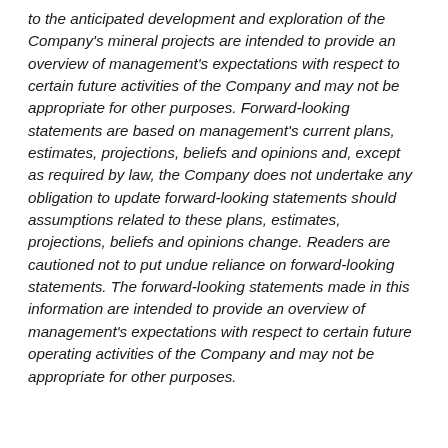to the anticipated development and exploration of the Company's mineral projects are intended to provide an overview of management's expectations with respect to certain future activities of the Company and may not be appropriate for other purposes. Forward-looking statements are based on management's current plans, estimates, projections, beliefs and opinions and, except as required by law, the Company does not undertake any obligation to update forward-looking statements should assumptions related to these plans, estimates, projections, beliefs and opinions change. Readers are cautioned not to put undue reliance on forward-looking statements. The forward-looking statements made in this information are intended to provide an overview of management's expectations with respect to certain future operating activities of the Company and may not be appropriate for other purposes.